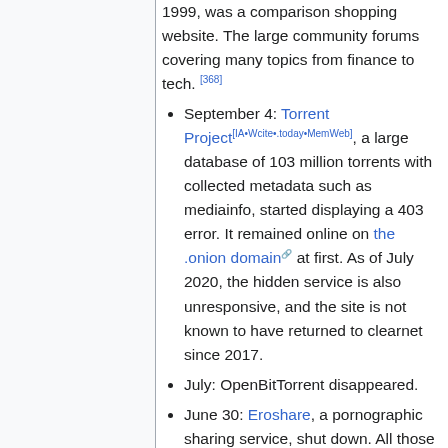1999, was a comparison shopping website. The large community forums covering many topics from finance to tech. [368]
September 4: Torrent Project[IA•Wcite•.today•MemWeb], a large database of 103 million torrents with collected metadata such as mediainfo, started displaying a 403 error. It remained online on the .onion domain at first. As of July 2020, the hidden service is also unresponsive, and the site is not known to have returned to clearnet since 2017.
July: OpenBitTorrent disappeared.
June 30: Eroshare, a pornographic sharing service, shut down. All those Reddit links, useless...
June 23: Imzy[IA•Wcite•.today•MemWeb],